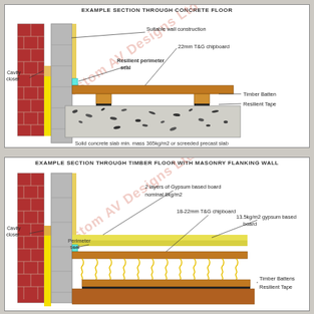[Figure (engineering-diagram): Example section through concrete floor showing wall construction, 22mm T&G chipboard, resilient perimeter seal, timber battens, resilient tape, cavity closer, and solid concrete slab min. mass 365kg/m2 or screeded precast slab. Watermark: Custom AV Designs Ltd]
[Figure (engineering-diagram): Example section through timber floor with masonry flanking wall showing 2 layers of Gypsum based board nominal 8kg/m2, 18-22mm T&G chipboard, 13.5kg/m2 gypsum based board, perimeter seal, timber battens, resilient tape, cavity closer. Watermark: Custom AV Designs Ltd]